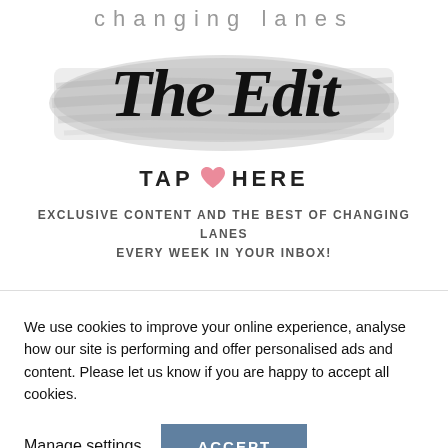changing lanes
[Figure (illustration): Brushstroke background with cursive script text reading 'The Edit' in large bold italic letters over a grey brush texture]
TAP HERE
EXCLUSIVE CONTENT AND THE BEST OF CHANGING LANES EVERY WEEK IN YOUR INBOX!
We use cookies to improve your online experience, analyse how our site is performing and offer personalised ads and content. Please let us know if you are happy to accept all cookies.
Manage settings  ACCEPT